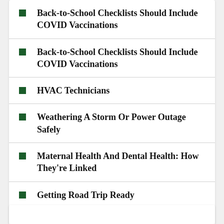Back-to-School Checklists Should Include COVID Vaccinations
Back-to-School Checklists Should Include COVID Vaccinations
HVAC Technicians
Weathering A Storm Or Power Outage Safely
Maternal Health And Dental Health: How They're Linked
Getting Road Trip Ready
View All